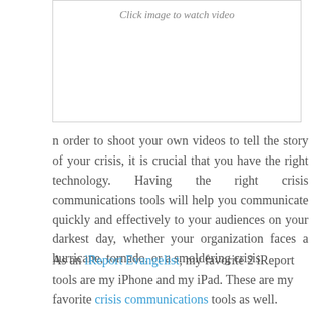[Figure (other): Video placeholder box with italic caption 'Click image to watch video']
n order to shoot your own videos to tell the story of your crisis, it is crucial that you have the right technology. Having the right crisis communications tools will help you communicate quickly and effectively to your audiences on your darkest day, whether your organization faces a hurricane, tornado, or a smoldering crisis.
As an iReportEvangelist, my favorite 2 iReport tools are my iPhone and my iPad. These are my favorite crisis communications tools as well.